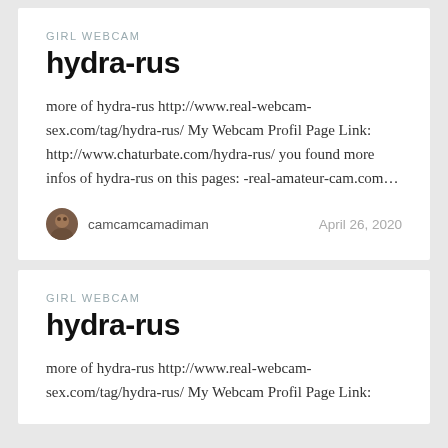GIRL WEBCAM
hydra-rus
more of hydra-rus http://www.real-webcam-sex.com/tag/hydra-rus/ My Webcam Profil Page Link: http://www.chaturbate.com/hydra-rus/ you found more infos of hydra-rus on this pages: -real-amateur-cam.com…
camcamcamadiman   April 26, 2020
GIRL WEBCAM
hydra-rus
more of hydra-rus http://www.real-webcam-sex.com/tag/hydra-rus/ My Webcam Profil Page Link: